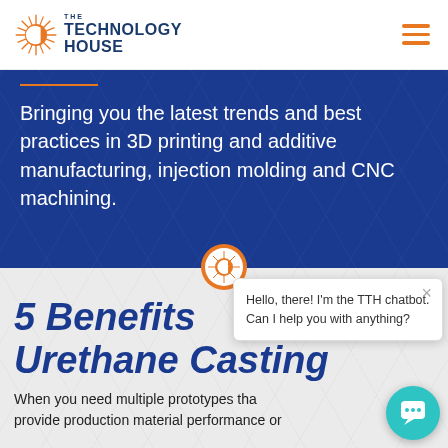[Figure (logo): The Technology House logo with orange starburst icon and dark blue text]
Bringing you the latest trends and best practices in 3D printing and additive manufacturing, injection molding and CNC machining.
5 Benefits of Urethane Casting
When you need multiple prototypes that provide production material performance or
[Figure (screenshot): TTH chatbot popup saying: Hello, there! I'm the TTH chatbot. Can I help you with anything?]